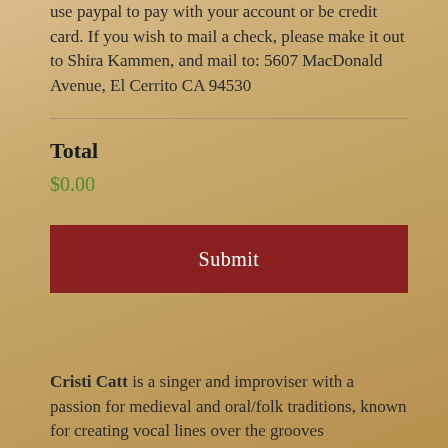use paypal to pay with your account or be credit card. If you wish to mail a check, please make it out to Shira Kammen, and mail to: 5607 MacDonald Avenue, El Cerrito CA 94530
Total
$0.00
[Figure (other): Red submit button]
Cristi Catt is a singer and improviser with a passion for medieval and oral/folk traditions, known for creating vocal lines over the grooves